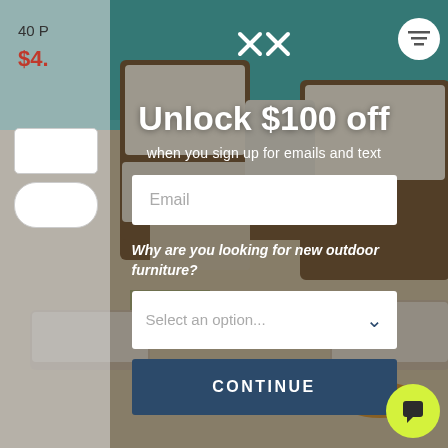[Figure (photo): Outdoor furniture / pool patio scene with wicker chairs and cushions, used as background image for a promotional modal overlay]
40 P
$4.
Unlock $100 off
when you sign up for emails and text
Email
Why are you looking for new outdoor furniture?
Select an option...
CONTINUE